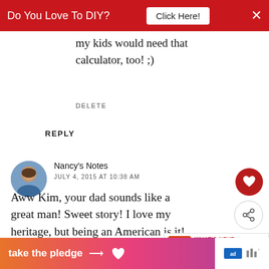[Figure (screenshot): Red ad banner at top: 'Do You Love To DIY? Click Here!' with X close button]
my kids would need that calculator, too! ;)
DELETE
REPLY
[Figure (photo): Avatar photo of Nancy, a woman]
Nancy's Notes
JULY 4, 2015 AT 10:38 AM
Aww Kim, your dad sounds like a great man! Sweet story! I love my heritage, but being an American is it! Happy 4th!
Nancy
[Figure (screenshot): Bottom ad banner: 'take the pledge →' with RELEASE and ad logos on right side]